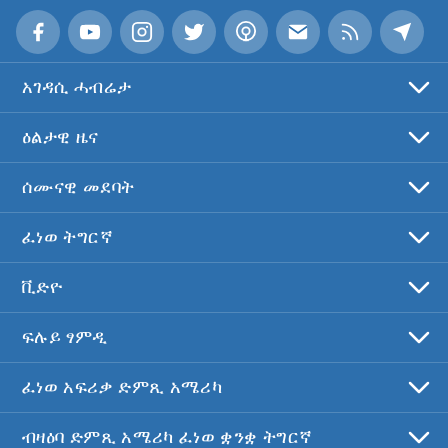[Figure (infographic): Row of 8 social media / contact icon circles: Facebook, YouTube, Instagram, Twitter, Podcast, Email, RSS, Telegram]
አገዳሲ ሓብሬታ
ዕልታዊ ዜና
ሰሙናዊ መደባት
ፈነወ ትግርኛ
ቪድዮ
ፍሉይ ፃምዲ
ፈነወ አፍሪቃ ድምጺ አሜሪካ
ብዛዕባ ድምጺ አሜሪካ ፈነወ ቋንቋ ትግርኛ
የሚፈጸ  አሚሪካ ብሙሶሰ ይሐፊ ዝቱቱሰጦይ።